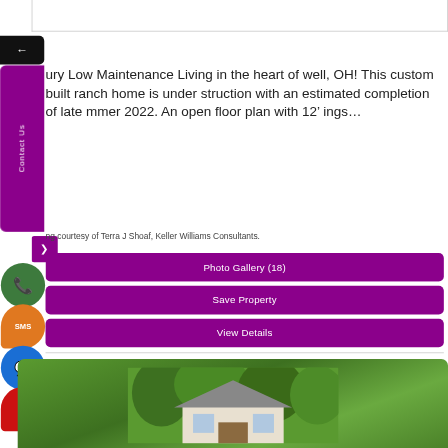ury Low Maintenance Living in the heart of well, OH! This custom built ranch home is under struction with an estimated completion of late mmer 2022. An open floor plan with 12' ings...
ng courtesy of Terra J Shoaf, Keller Williams Consultants.
Photo Gallery (18)
Save Property
View Details
[Figure (photo): House exterior photo showing roof and trees in background]